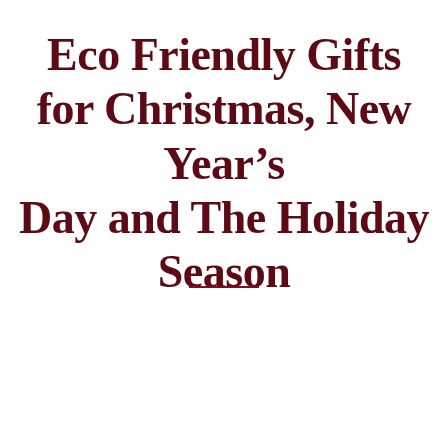Eco Friendly Gifts for Christmas, New Year's Day and The Holiday Season